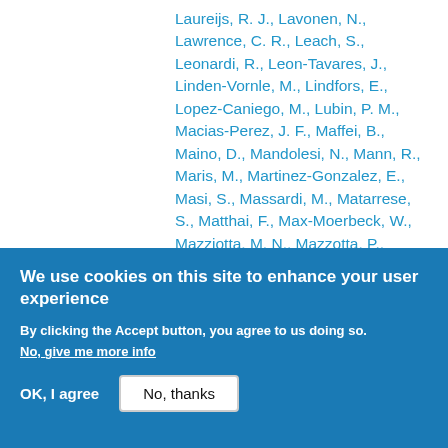Laureijs, R. J., Lavonen, N., Lawrence, C. R., Leach, S., Leonardi, R., Leon-Tavares, J., Linden-Vornle, M., Lindfors, E., Lopez-Caniego, M., Lubin, P. M., Macias-Perez, J. F., Maffei, B., Maino, D., Mandolesi, N., Mann, R., Maris, M., Martinez-Gonzalez, E., Masi, S., Massardi, M., Matarrese, S., Matthai, F., Max-Moerbeck, W., Mazziotta, M. N., Mazzotta, P., Melchiorri, A., Mendes, L., Mennella, A., Michelson, P. F., Mingaliev, M., Mitra, S., Miville-Deschenes, M. A., Moneti, A., Monte, C., Montier, L., Morgante, G., Mortlock, D., Munshi, D., Murphy, A., Naselsky, P., Natoli, P., Nestoras, I., Netterfield, C. B., Nieppola, E., Nilsson, K., Norgaard-
We use cookies on this site to enhance your user experience
By clicking the Accept button, you agree to us doing so.
No, give me more info
OK, I agree
No, thanks